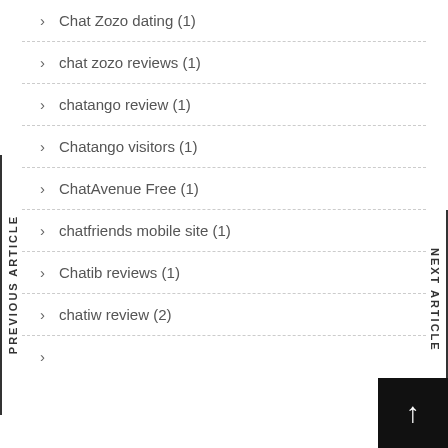Chat Zozo dating (1)
chat zozo reviews (1)
chatango review (1)
Chatango visitors (1)
ChatAvenue Free (1)
chatfriends mobile site (1)
Chatib reviews (1)
chatiw review (2)